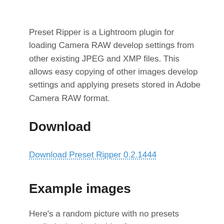Preset Ripper is a Lightroom plugin for loading Camera RAW develop settings from other existing JPEG and XMP files. This allows easy copying of other images develop settings and applying presets stored in Adobe Camera RAW format.
Download
Download Preset Ripper 0.2.1444
Example images
Here's a random picture with no presets applied, showing inside of a snow cannon:
[Figure (photo): A dark photograph showing the inside of a snow cannon, with metallic components visible and a bright area in the background]